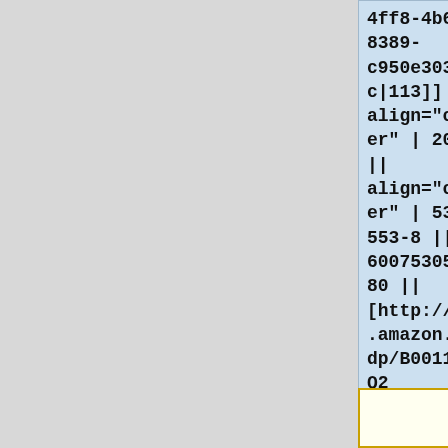4ff8-4b6a-8389-c950e303533c|113]] || align="center" | 2008 || align="center" | 530 553-8 || 6007530553880 || [http://www.amazon.fr/dp/B00115HSQ2 B00115HSQ2] || align="center" | CD
[Figure (other): Partial image or thumbnail with yellow/gold border, partially visible at bottom of page]